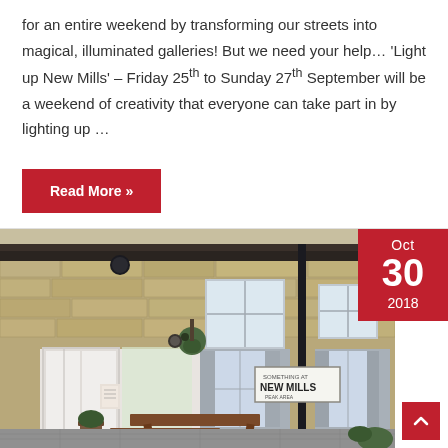for an entire weekend by transforming our streets into magical, illuminated galleries! But we need your help… 'Light up New Mills' – Friday 25th to Sunday 27th September will be a weekend of creativity that everyone can take part in by lighting up …
Read More »
[Figure (photo): Stone building exterior of New Mills, with white doors, windows with shutters, a picnic table outside, hanging plant basket, and a sign reading 'NEW MILLS'. Date badge showing Oct 30 2018 in the top right corner.]